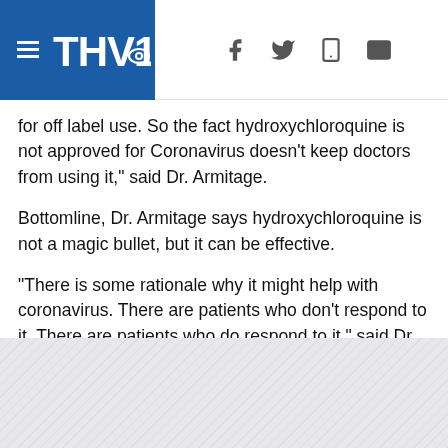[Figure (screenshot): THV11 news website header with hamburger menu, THV11 CBS logo in blue, and social/share icons (Facebook, Twitter, mobile, email)]
for off label use. So the fact hydroxychloroquine is not approved for Coronavirus doesn't keep doctors from using it," said Dr. Armitage.
Bottomline, Dr. Armitage says hydroxychloroquine is not a magic bullet, but it can be effective.
“There is some rationale why it might help with coronavirus. There are patients who don't respond to it. There are patients who do respond to it,” said Dr. Armitage. “There is a role for this medication but it's unproven yet.”
As for Don Babich, he thinks Stacey is responding to the hydroxychloroquine, and it's keeping him hopeful.